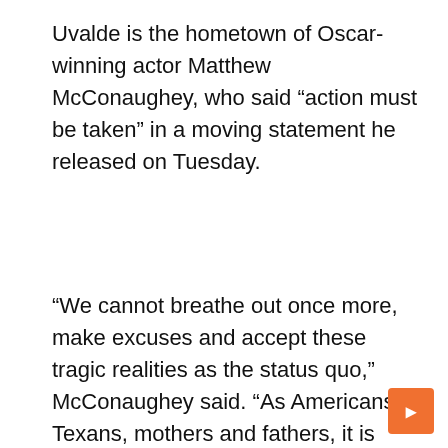Uvalde is the hometown of Oscar-winning actor Matthew McConaughey, who said “action must be taken” in a moving statement he released on Tuesday.
“We cannot breathe out once more, make excuses and accept these tragic realities as the status quo,” McConaughey said. “As Americans, Texans, mothers and fathers, it is time to reevaluate and negotiate our wants from our needs. We need to reorganize our values and find common ground above this devastating American reality that has tragically become our children’s problem.